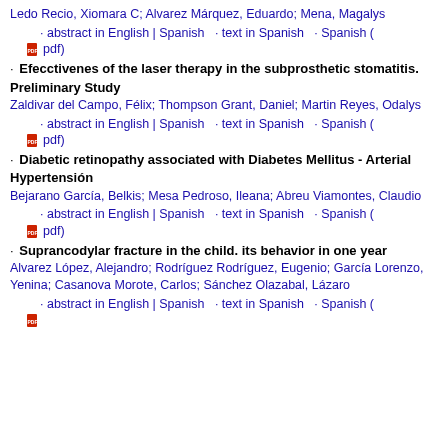Ledo Recio, Xiomara C; Alvarez Márquez, Eduardo; Mena, Magalys
· abstract in English | Spanish · text in Spanish · Spanish ( pdf )
· Efecctivenes of the laser therapy in the subprosthetic stomatitis. Preliminary Study
Zaldivar del Campo, Félix; Thompson Grant, Daniel; Martin Reyes, Odalys
· abstract in English | Spanish · text in Spanish · Spanish ( pdf )
· Diabetic retinopathy associated with Diabetes Mellitus - Arterial Hypertensión
Bejarano García, Belkis; Mesa Pedroso, Ileana; Abreu Viamontes, Claudio
· abstract in English | Spanish · text in Spanish · Spanish ( pdf )
· Suprancodylar fracture in the child. its behavior in one year
Alvarez López, Alejandro; Rodríguez Rodríguez, Eugenio; García Lorenzo, Yenina; Casanova Morote, Carlos; Sánchez Olazabal, Lázaro
· abstract in English | Spanish · text in Spanish · Spanish (